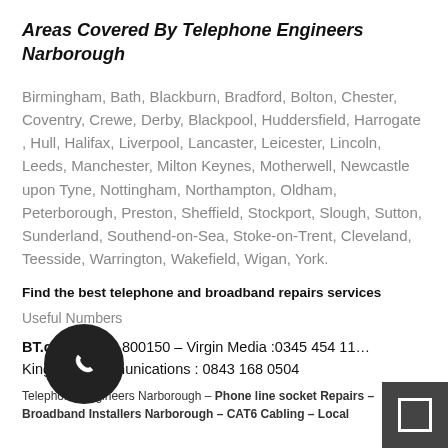Areas Covered By Telephone Engineers Narborough
Birmingham, Bath, Blackburn, Bradford, Bolton, Chester, Coventry, Crewe, Derby, Blackpool, Huddersfield, Harrogate , Hull, Halifax, Liverpool, Lancaster, Leicester, Lincoln, Leeds, Manchester, Milton Keynes, Motherwell, Newcastle upon Tyne, Nottingham, Northampton, Oldham, Peterborough, Preston, Sheffield, Stockport, Slough, Sutton, Sunderland, Southend-on-Sea, Stoke-on-Trent, Cleveland, Teesside, Warrington, Wakefield, Wigan, York.
Find the best telephone and broadband repairs services
Useful Numbers
BT.com : 0800 800150 – Virgin Media :0345 454 11… Kingston Communications : 0843 168 0504
Telephone Engineers Narborough – Phone line socket Repairs – Broadband Installers Narborough – CAT6 Cabling – Local